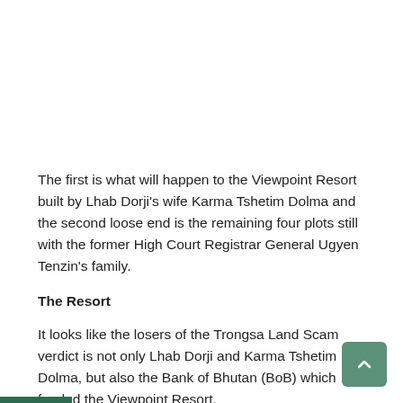The first is what will happen to the Viewpoint Resort built by Lhab Dorji's wife Karma Tshetim Dolma and the second loose end is the remaining four plots still with the former High Court Registrar General Ugyen Tenzin's family.
The Resort
It looks like the losers of the Trongsa Land Scam verdict is not only Lhab Dorji and Karma Tshetim Dolma, but also the Bank of Bhutan (BoB) which funded the Viewpoint Resort.